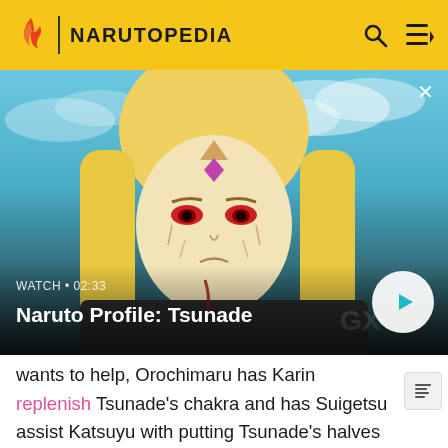NARUTOPEDIA
[Figure (screenshot): Anime character Tsunade with blonde hair, red eyes, purple diamond mark on forehead, and markings on face, set against a blue sky background. Video thumbnail for 'Naruto Profile: Tsunade' with duration 02:33 and a play button.]
wants to help, Orochimaru has Karin replenish Tsunade's chakra and has Suigetsu assist Katsuyu with putting Tsunade's halves back together. Tsunade reluctantly thanks Orochimaru once she's restored and notes a change in him, a change that might have saved Jiraiya had it happened sooner. Orochimaru departs leaving